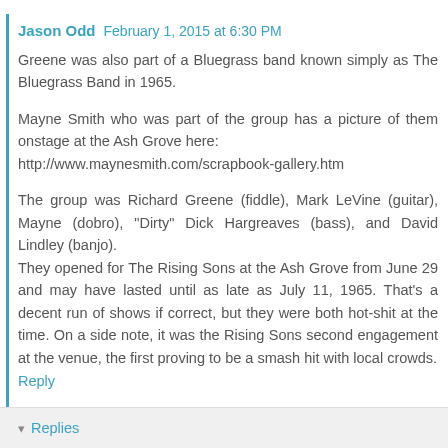Jason Odd  February 1, 2015 at 6:30 PM
Greene was also part of a Bluegrass band known simply as The Bluegrass Band in 1965.
Mayne Smith who was part of the group has a picture of them onstage at the Ash Grove here: http://www.maynesmith.com/scrapbook-gallery.htm
The group was Richard Greene (fiddle), Mark LeVine (guitar), Mayne (dobro), "Dirty" Dick Hargreaves (bass), and David Lindley (banjo). They opened for The Rising Sons at the Ash Grove from June 29 and may have lasted until as late as July 11, 1965. That's a decent run of shows if correct, but they were both hot-shit at the time. On a side note, it was the Rising Sons second engagement at the venue, the first proving to be a smash hit with local crowds.
Reply
Replies